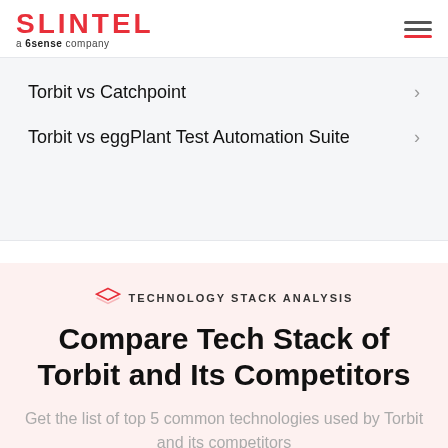SLINTEL a 6sense company
Torbit vs Catchpoint
Torbit vs eggPlant Test Automation Suite
TECHNOLOGY STACK ANALYSIS
Compare Tech Stack of Torbit and Its Competitors
Get the list of top 5 common technologies used by Torbit and its competitors